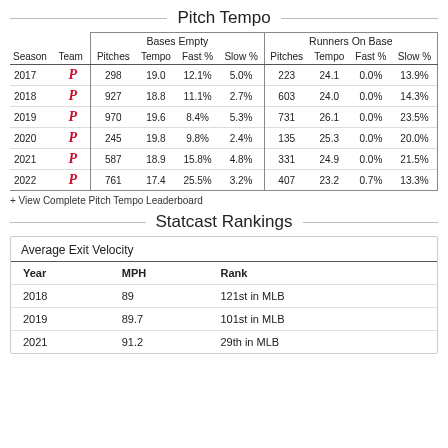Pitch Tempo
| Season | Team | Pitches | Tempo | Fast % | Slow % | Pitches | Tempo | Fast % | Slow % |
| --- | --- | --- | --- | --- | --- | --- | --- | --- | --- |
| 2017 | P | 298 | 19.0 | 12.1% | 5.0% | 223 | 24.1 | 0.0% | 13.9% |
| 2018 | P | 927 | 18.8 | 11.1% | 2.7% | 603 | 24.0 | 0.0% | 14.3% |
| 2019 | P | 970 | 19.6 | 8.4% | 5.3% | 731 | 26.1 | 0.0% | 23.5% |
| 2020 | P | 245 | 19.8 | 9.8% | 2.4% | 135 | 25.3 | 0.0% | 20.0% |
| 2021 | P | 587 | 18.9 | 15.8% | 4.8% | 331 | 24.9 | 0.0% | 21.5% |
| 2022 | P | 761 | 17.4 | 25.5% | 3.2% | 407 | 23.2 | 0.7% | 13.3% |
+ View Complete Pitch Tempo Leaderboard
Statcast Rankings
| Year | MPH | Rank |
| --- | --- | --- |
| 2018 | 89 | 121st in MLB |
| 2019 | 89.7 | 101st in MLB |
| 2021 | 91.2 | 29th in MLB |